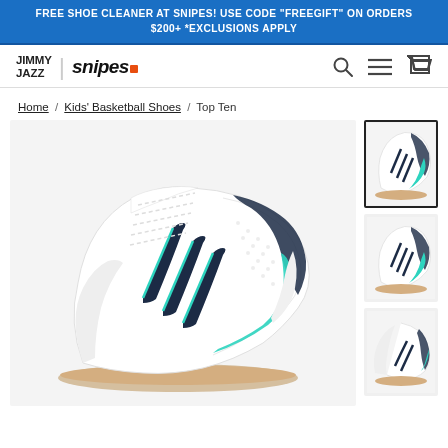FREE SHOE CLEANER AT SNIPES! USE CODE "FREEGIFT" ON ORDERS $200+ *EXCLUSIONS APPLY
[Figure (logo): Jimmy Jazz | Snipes logo with navigation icons (search, menu, cart)]
Home / Kids' Basketball Shoes / Top Ten
[Figure (photo): Adidas Top Ten high-top sneaker in white with teal/mint accents and navy stripes, shown from the side on a light background]
[Figure (photo): Thumbnail 1: Adidas Top Ten sneaker side view (active/selected)]
[Figure (photo): Thumbnail 2: Adidas Top Ten sneaker side view alternate angle]
[Figure (photo): Thumbnail 3: Adidas Top Ten sneaker back/side view]